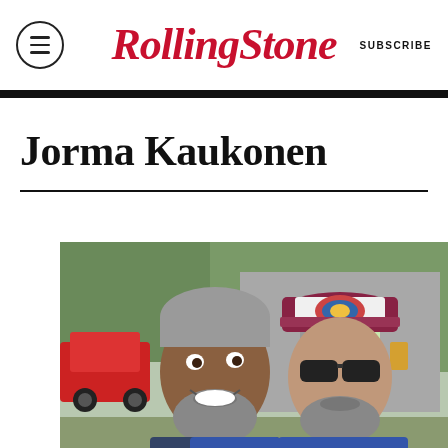Rolling Stone
Jorma Kaukonen
[Figure (photo): Two older men with grey hair and beards posing together outdoors. The man on the left is smiling broadly, the man on the right is wearing a trucker cap and sunglasses. Behind them is a grey metal building and trees. A red vehicle is visible in the background on the left.]